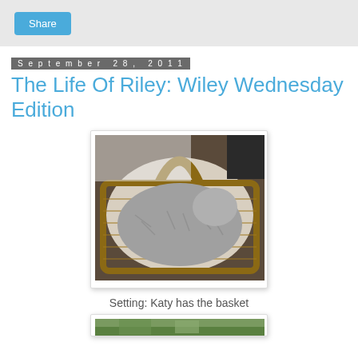Share
September 28, 2011
The Life Of Riley: Wiley Wednesday Edition
[Figure (photo): A grey tabby cat curled up sleeping inside a woven basket with a handle, resting on a white liner. The cat fills the basket completely.]
Setting: Katy has the basket
[Figure (photo): Partial view of a second photo at the bottom of the page, showing green outdoor scene.]